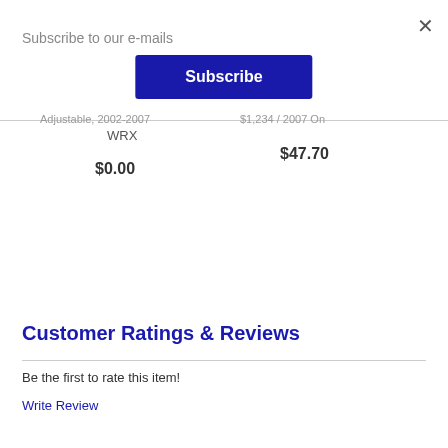×
Subscribe to our e-mails
Subscribe
WRX
$0.00
$47.70
Customer Ratings & Reviews
Be the first to rate this item!
Write Review